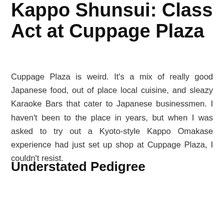Kappo Shunsui: Class Act at Cuppage Plaza
Cuppage Plaza is weird. It’s a mix of really good Japanese food, out of place local cuisine, and sleazy Karaoke Bars that cater to Japanese businessmen. I haven’t been to the place in years, but when I was asked to try out a Kyoto-style Kappo Omakase experience had just set up shop at Cuppage Plaza, I couldn’t resist.
Understated Pedigree